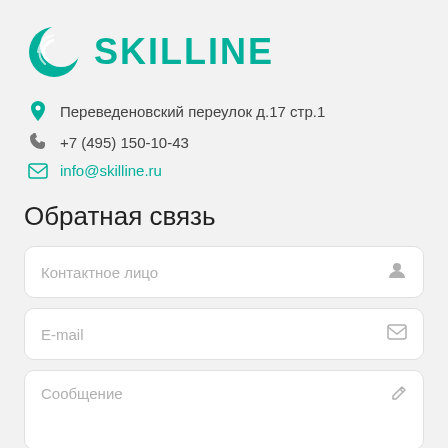[Figure (logo): Skilline company logo with teal crescent/circle icon and bold teal SKILLINE text]
Переведеновский переулок д.17 стр.1
+7 (495) 150-10-43
info@skilline.ru
Обратная связь
Контактное лицо
E-mail
Сообщение